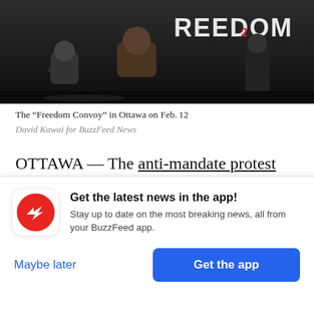[Figure (photo): Dark outdoor scene with people in winter clothing, a sign reading FREEDOM partially visible in the background]
The “Freedom Convoy” in Ottawa on Feb. 12
David Kawai for BuzzFeed News
OTTAWA — The anti-mandate protest here entered its third week Saturday with a late-night concert in front of the Canadian Parliament, complete with a stage, sound system, light show, and porta-potties. In the morning, people lounged in a hot tub.
Get the latest news in the app! Stay up to date on the most breaking news, all from your BuzzFeed app.
Maybe later
Get the app